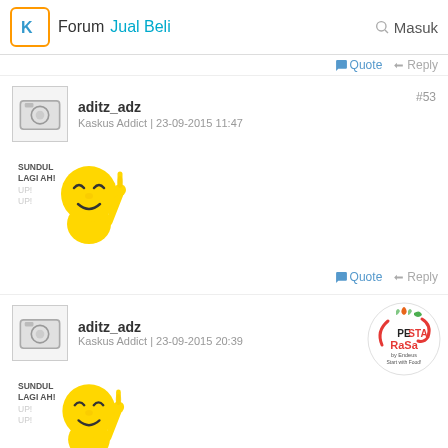Forum Jual Beli  Masuk
Quote  Reply
aditz_adz
Kaskus Addict | 23-09-2015 11:47
#53
[Figure (illustration): Sticker: yellow smiley character giving thumbs up with text SUNDUL LAGI AH! and UP!]
Quote  Reply
aditz_adz
Kaskus Addict | 23-09-2015 20:39
[Figure (logo): Pesta Rasa by Endeus - Start with Food! circular badge logo]
[Figure (illustration): Sticker: yellow smiley character giving thumbs up with text SUNDUL LAGI AH! and UP!]
Quote  Reply